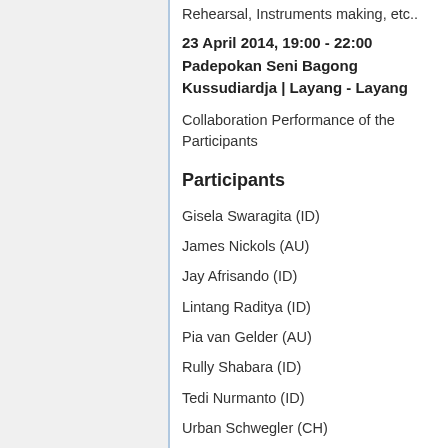Rehearsal, Instruments making, etc..
23 April 2014, 19:00 - 22:00
Padepokan Seni Bagong Kussudiardja | Layang - Layang
Collaboration Performance of the Participants
Participants
Gisela Swaragita (ID)
James Nickols (AU)
Jay Afrisando (ID)
Lintang Raditya (ID)
Pia van Gelder (AU)
Rully Shabara (ID)
Tedi Nurmanto (ID)
Urban Schwegler (CH)
Wukir Suryadi (ID)